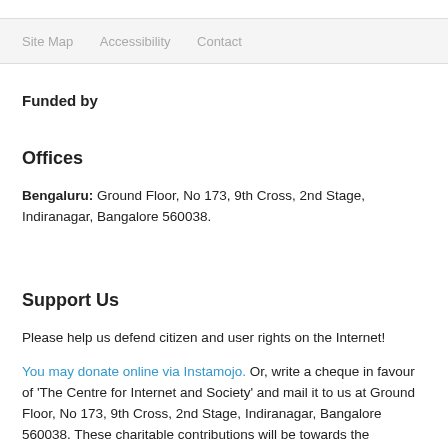Site Map   Accessibility   Contact
Funded by
Offices
Bengaluru: Ground Floor, No 173, 9th Cross, 2nd Stage, Indiranagar, Bangalore 560038.
Support Us
Please help us defend citizen and user rights on the Internet!
You may donate online via Instamojo. Or, write a cheque in favour of 'The Centre for Internet and Society' and mail it to us at Ground Floor, No 173, 9th Cross, 2nd Stage, Indiranagar, Bangalore 560038. These charitable contributions will be towards the Institutional